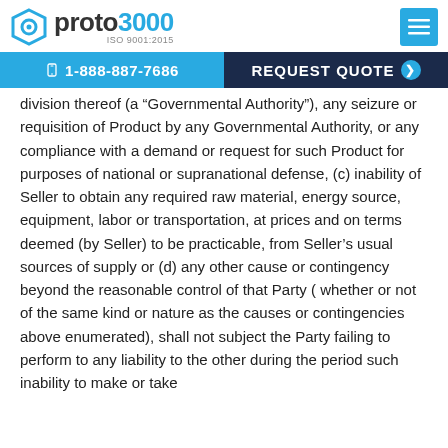proto3000 ISO 9001:2015
1-888-887-7686 | REQUEST QUOTE
division thereof (a “Governmental Authority”), any seizure or requisition of Product by any Governmental Authority, or any compliance with a demand or request for such Product for purposes of national or supranational defense, (c) inability of Seller to obtain any required raw material, energy source, equipment, labor or transportation, at prices and on terms deemed (by Seller) to be practicable, from Seller’s usual sources of supply or (d) any other cause or contingency beyond the reasonable control of that Party ( whether or not of the same kind or nature as the causes or contingencies above enumerated), shall not subject the Party failing to perform to any liability to the other during the period such inability to make or take deliveries exists. Party’s performance that